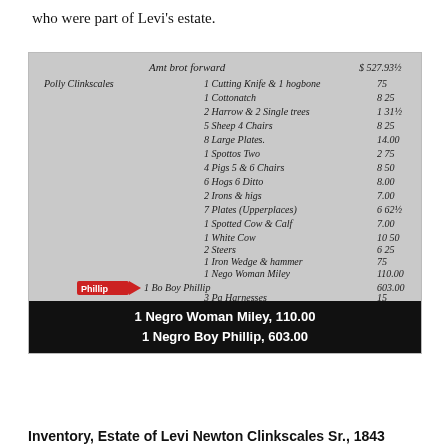who were part of Levi's estate.
[Figure (photo): Scanned handwritten estate inventory document showing items and values including '1 Negro Woman Miley, 110.00' and '1 Negro Boy Phillip, 603.00', with a red arrow pointing to the Phillip entry. A black caption bar at the bottom reads the two key lines.]
1 Negro Woman Miley, 110.00
1 Negro Boy Phillip, 603.00
Inventory, Estate of Levi Newton Clinkscales Sr., 1843